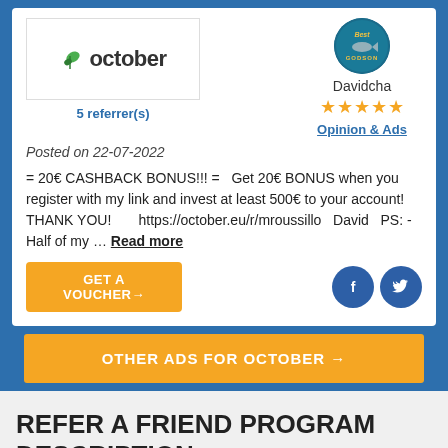[Figure (logo): October logo with green leaf icon and text 'october']
5 referrer(s)
[Figure (illustration): Circular user profile avatar with text 'Best Godson', username Davidcha, 5 orange stars, Opinion & Ads link]
Posted on 22-07-2022
= 20€ CASHBACK BONUS!!! = Get 20€ BONUS when you register with my link and invest at least 500€ to your account! THANK YOU! https://october.eu/r/mroussillo David PS: - Half of my … Read more
[Figure (other): Orange GET A VOUCHER button with arrow]
[Figure (other): Facebook and Twitter social media circular icon buttons]
OTHER ADS FOR OCTOBER →
REFER A FRIEND PROGRAM DESCRIPTION